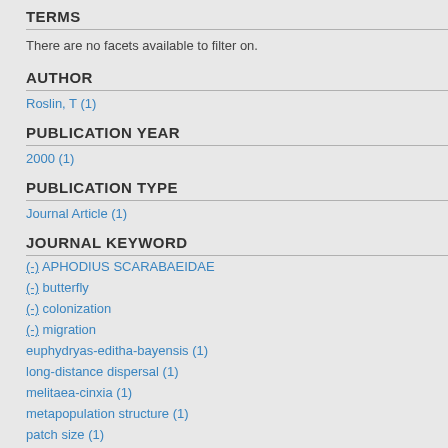TERMS
There are no facets available to filter on.
AUTHOR
Roslin, T (1)
PUBLICATION YEAR
2000 (1)
PUBLICATION TYPE
Journal Article (1)
JOURNAL KEYWORD
(-) APHODIUS SCARABAEIDAE
(-) butterfly
(-) colonization
(-) migration
euphydryas-editha-bayensis (1)
long-distance dispersal (1)
melitaea-cinxia (1)
metapopulation structure (1)
patch size (1)